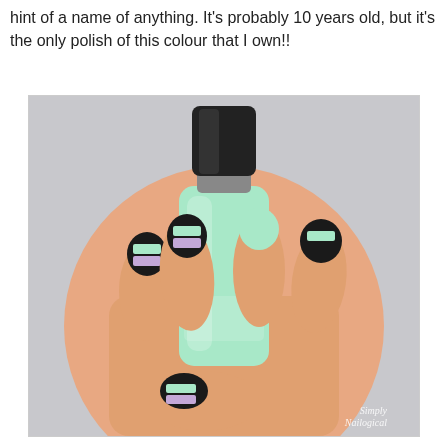hint of a name of anything. It's probably 10 years old, but it's the only polish of this colour that I own!!
[Figure (photo): A hand holding a mint green nail polish bottle with a black cap. The nails are decorated with mint green, lavender/purple, and black stripe nail art. Watermark reads 'Simply Nailogical' in bottom right corner.]